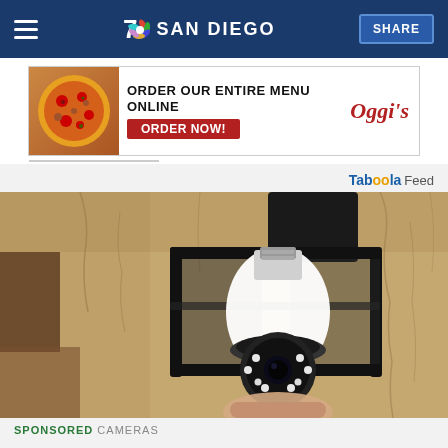7 SAN DIEGO | SHARE
[Figure (photo): Oggi's pizza restaurant advertisement banner: pizza image on left, 'ORDER OUR ENTIRE MENU ONLINE' in black text, red 'ORDER NOW!' button, and Oggi's logo in red script on white background.]
Tabööla Feed
[Figure (photo): A security camera disguised as a light bulb, installed in an outdoor black metal wall lantern fixture mounted on a stucco/adobe wall. A hand is visible at the bottom holding or installing the bulb-camera.]
SPONSORED CAMERAS